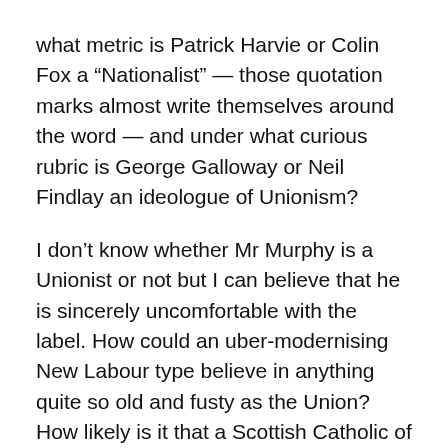what metric is Patrick Harvie or Colin Fox a “Nationalist” — those quotation marks almost write themselves around the word — and under what curious rubric is George Galloway or Neil Findlay an ideologue of Unionism?
I don’t know whether Mr Murphy is a Unionist or not but I can believe that he is sincerely uncomfortable with the label. How could an uber-modernising New Labour type believe in anything quite so old and fusty as the Union? How likely is it that a Scottish Catholic of Irish descent would identify with a political and historical construct associated with British imperialism? This is especially true of Labour left-wingers, although no one would confuse Mr Murphy for a socialist. (A Labour-historied colleague quipped: “I can buy Jim not being a Unionist; it’s the suggestion